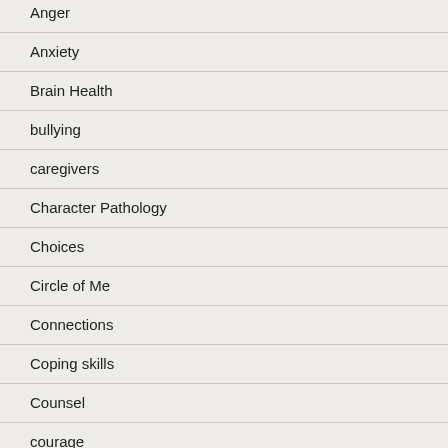Anger
Anxiety
Brain Health
bullying
caregivers
Character Pathology
Choices
Circle of Me
Connections
Coping skills
Counsel
courage
Depression
doctor-patient relationship
Electroconvulsive Therapy